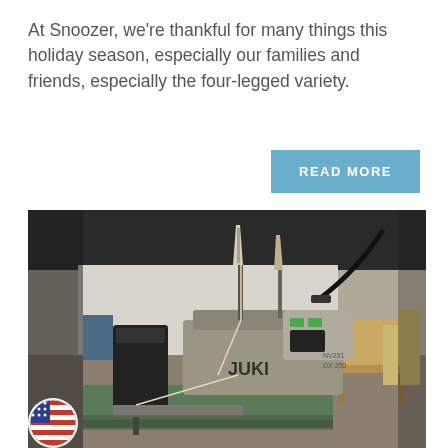At Snoozer, we're thankful for many things this holiday season, especially our families and friends, especially the four-legged variety.
[Figure (other): Blue 'READ MORE' button]
[Figure (photo): Industrial sewing machine (JUKI brand) in a factory setting with workbenches and other equipment visible in the background.]
[Figure (other): Small circular American flag badge/icon in bottom left corner.]